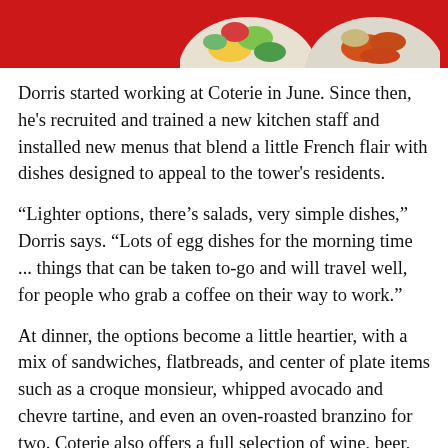[Figure (photo): Two food bowls with colorful ingredients on a red background, viewed from above, partially cropped at top of page.]
Dorris started working at Coterie in June. Since then, he's recruited and trained a new kitchen staff and installed new menus that blend a little French flair with dishes designed to appeal to the tower's residents.
“Lighter options, there’s salads, very simple dishes,” Dorris says. “Lots of egg dishes for the morning time ... things that can be taken to-go and will travel well, for people who grab a coffee on their way to work.”
At dinner, the options become a little heartier, with a mix of sandwiches, flatbreads, and center of plate items such as a croque monsieur, whipped avocado and chevre tartine, and even an oven-roasted branzino for two. Coterie also offers a full selection of wine, beer, and cocktails, making